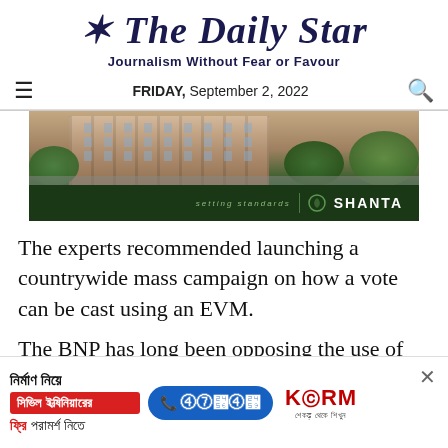The Daily Star
Journalism Without Fear or Favour
FRIDAY, September 2, 2022
[Figure (photo): Advertisement banner for Shanta Holdings real estate — building photograph with 'setting standards | SHANTA' text on dark green background.]
The experts recommended launching a countrywide mass campaign on how a vote can be cast using an EVM.
The BNP has long been opposing the use of EVMs, saying that the devices would allow the
[Figure (infographic): Bottom advertisement banner: KSRM construction advisory. Bengali text: 'নির্মাণ নিয়ে' (About construction), 'সিভিল ইঞ্জিনিয়ারের' (Civil engineer's), 'ফ্রি পরামর্শ নিতে' (Take free advice). Phone number ১৬৭৪১. KSRM branding logo. Close button ×.]